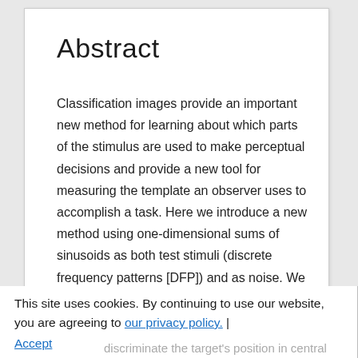Abstract
Classification images provide an important new method for learning about which parts of the stimulus are used to make perceptual decisions and provide a new tool for measuring the template an observer uses to accomplish a task. Here we introduce a new method using one-dimensional sums of sinusoids as both test stimuli (discrete frequency patterns [DFP]) and as noise. We
This site uses cookies. By continuing to use our website, you are agreeing to our privacy policy. Accept
discriminate the target's position in central